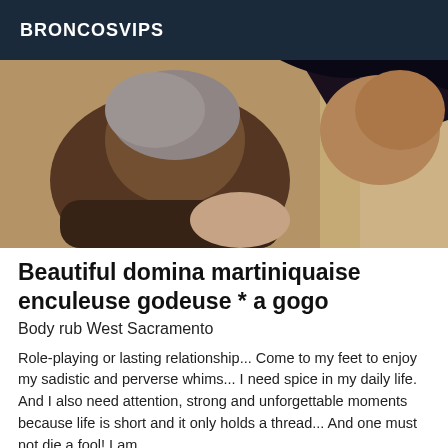BRONCOSVIPS
[Figure (photo): Close-up photo of two people, one with short gray hair bending down, the other wearing a dark bra, in an intimate scene with a light wooden background.]
Beautiful domina martiniquaise enculeuse godeuse * a gogo
Body rub West Sacramento
Role-playing or lasting relationship... Come to my feet to enjoy my sadistic and perverse whims... I need spice in my daily life. And I also need attention, strong and unforgettable moments because life is short and it only holds a thread... And one must not die a fool! I am